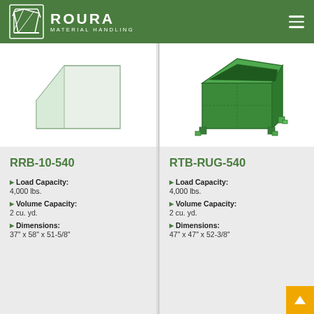ROURA MATERIAL HANDLING
[Figure (illustration): Green industrial bulk container/bin (RRB-10-540), partially visible, white background]
[Figure (illustration): Green industrial square bulk container (RTB-RUG-540) with corner posts, 3D perspective view]
RRB-10-540
RTB-RUG-540
Load Capacity: 4,000 lbs.
Volume Capacity: 2 cu. yd.
Dimensions: 37" x 58" x 51-5/8"
Load Capacity: 4,000 lbs.
Volume Capacity: 2 cu. yd.
Dimensions: 47" x 47" x 52-3/8"